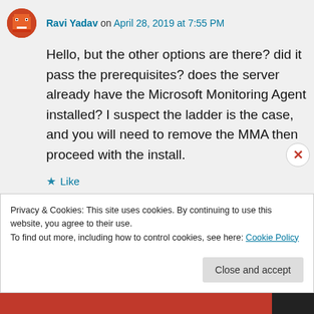Ravi Yadav on April 28, 2019 at 7:55 PM
Hello, but the other options are there? did it pass the prerequisites? does the server already have the Microsoft Monitoring Agent installed? I suspect the ladder is the case, and you will need to remove the MMA then proceed with the install.
★ Like
↳ Reply
Privacy & Cookies: This site uses cookies. By continuing to use this website, you agree to their use.
To find out more, including how to control cookies, see here: Cookie Policy
Close and accept